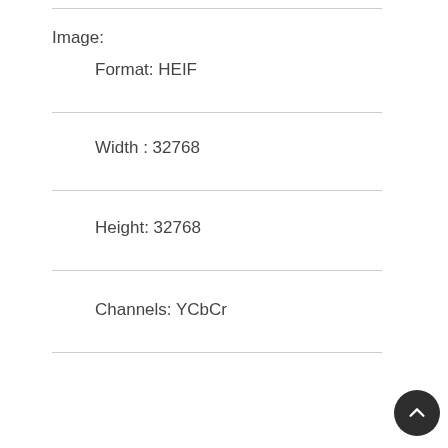Image:
Format: HEIF
Width : 32768
Height: 32768
Channels: YCbCr